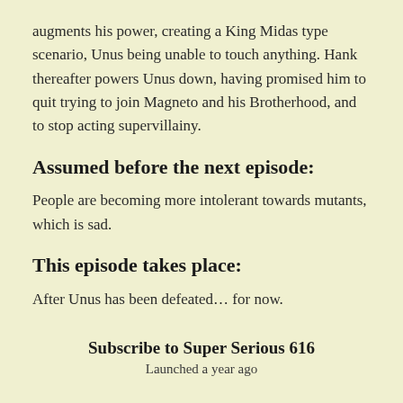augments his power, creating a King Midas type scenario, Unus being unable to touch anything. Hank thereafter powers Unus down, having promised him to quit trying to join Magneto and his Brotherhood, and to stop acting supervillainy.
Assumed before the next episode:
People are becoming more intolerant towards mutants, which is sad.
This episode takes place:
After Unus has been defeated… for now.
Subscribe to Super Serious 616
Launched a year ago